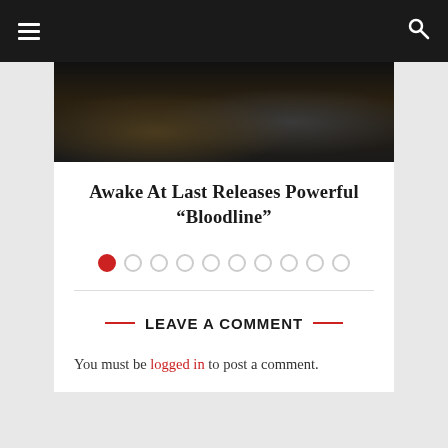Navigation bar with hamburger menu and search icon
[Figure (photo): Band photo showing musicians in dark setting]
Awake At Last Releases Powerful “Bloodline”
[Figure (other): Carousel pagination dots, 10 dots total, first dot active (red)]
LEAVE A COMMENT
You must be logged in to post a comment.